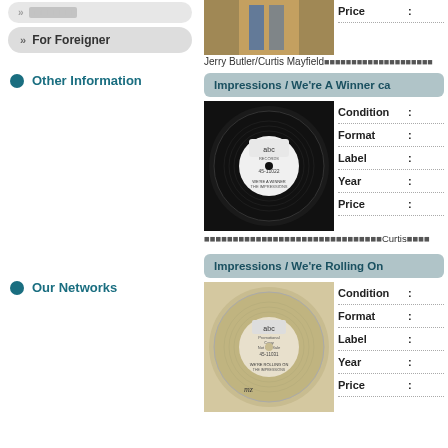For Foreigner
Other Information
Our Networks
[Figure (photo): Album cover photo top partial]
Jerry Butler/Curtis Mayfield (Japanese text)
Price :
Impressions / We're A Winner ca
[Figure (photo): Vinyl record photo for Impressions / We're A Winner - ABC label, 45-11022]
Condition :
Format :
Label :
Year :
Price :
(Japanese text) Curtis (Japanese text)
Impressions / We're Rolling On
[Figure (photo): Vinyl record photo for Impressions / We're Rolling On - ABC label promotional copy]
Condition :
Format :
Label :
Year :
Price :